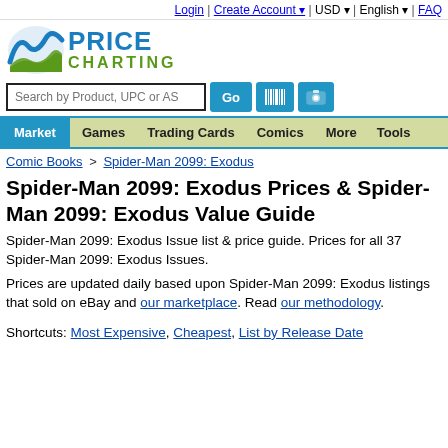Login | Create Account ▾ | USD ▾ | English ▾ | FAQ
[Figure (logo): PriceCharting logo with blue/green wave icon and blue PRICE / green CHARTING text]
Search by Product, UPC or AS [Go] [barcode] [camera]
Market | Games | Trading Cards | Comics | More | Tools
Comic Books > Spider-Man 2099: Exodus
Spider-Man 2099: Exodus Prices & Spider-Man 2099: Exodus Value Guide
Spider-Man 2099: Exodus Issue list & price guide. Prices for all 37 Spider-Man 2099: Exodus Issues.
Prices are updated daily based upon Spider-Man 2099: Exodus listings that sold on eBay and our marketplace. Read our methodology.
Shortcuts: Most Expensive, Cheapest, List by Release Date